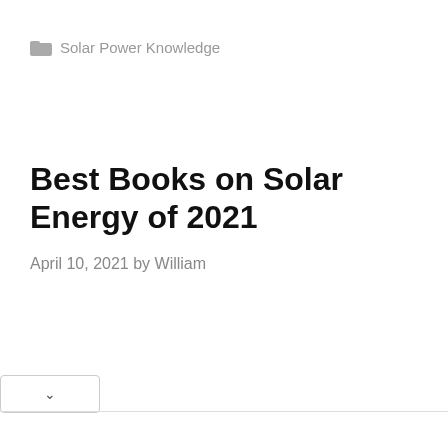Solar Power Knowledge
Best Books on Solar Energy of 2021
April 10, 2021 by William